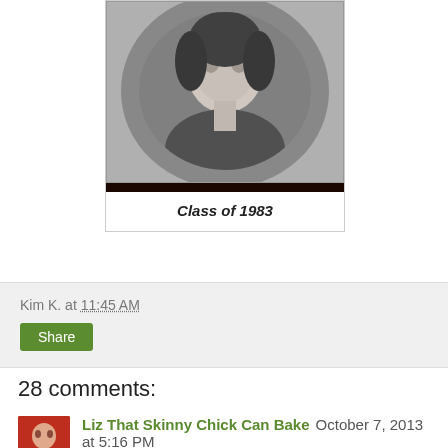[Figure (photo): Black and white portrait photo of a person, yearbook style]
Class of 1983
Kim K. at 11:45 AM
Share
28 comments:
Liz That Skinny Chick Can Bake October 7, 2013 at 5:16 PM
Oh, my gosh, you've made banana bread even better! YUM. And I was 4 years ahead of you, so your high school memories were my college memories...fun times.